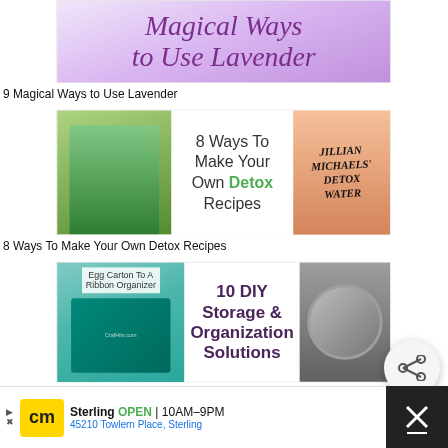[Figure (photo): Decorative image with cursive purple text reading 'Magical Ways to Use Lavender']
9 Magical Ways to Use Lavender
[Figure (photo): Collage image with green plant, text '8 Ways To Make Your Own Detox Recipes', and a bottle labeled 'Jillian Michaels' Detox Water']
8 Ways To Make Your Own Detox Recipes
[Figure (photo): Collage image: 'Egg Carton To A Ribbon Organizer', '10 DIY Storage & Organization Solutions', and round storage tins]
10 DIY Storage & Organization Solutions
[Figure (photo): Partial image with text '9 Quick & Thoughtful']
[Figure (screenshot): Share button icon (circle with share symbol)]
[Figure (screenshot): WHAT'S NEXT arrow label with thumbnail and title 'Sunflower Pumpkin Do...']
Sterling OPEN 10AM-9PM 45210 Towlern Place, Sterling